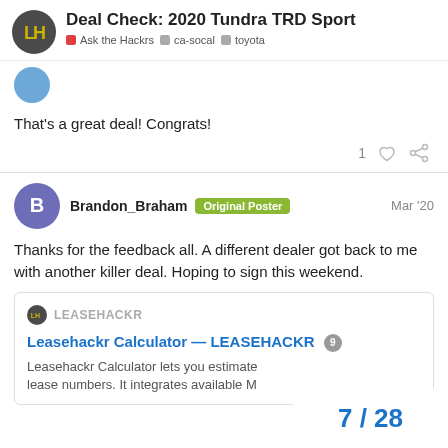Deal Check: 2020 Tundra TRD Sport | Ask the Hackrs · ca-socal · toyota
That's a great deal! Congrats!
Brandon_Braham Original Poster Mar '20
Thanks for the feedback all. A different dealer got back to me with another killer deal. Hoping to sign this weekend.
[Figure (screenshot): Embedded link card for Leasehackr Calculator — LEASEHACKR with description: Leasehackr Calculator lets you estimate lease numbers. It integrates available M...]
7 / 28